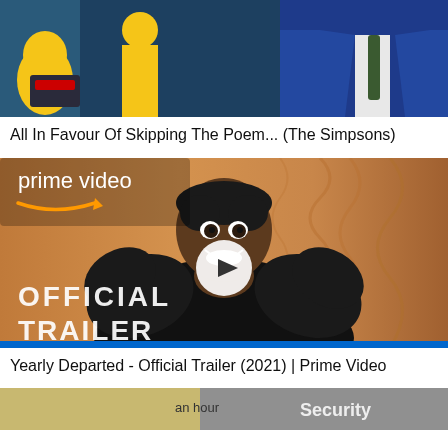[Figure (screenshot): Thumbnail from The Simpsons episode: animated characters in a scene, yellow characters and a man in a blue suit with green tie]
All In Favour Of Skipping The Poem... (The Simpsons)
[Figure (screenshot): Amazon Prime Video official trailer thumbnail showing a smiling woman in a black dress with OFFICIAL TRAILER text overlay and play button]
Yearly Departed - Official Trailer (2021) | Prime Video
[Figure (screenshot): Partially visible thumbnail at the bottom of the page]